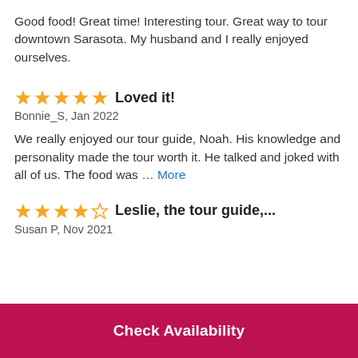Good food! Great time! Interesting tour. Great way to tour downtown Sarasota. My husband and I really enjoyed ourselves.
Loved it!
Bonnie_S, Jan 2022
We really enjoyed our tour guide, Noah. His knowledge and personality made the tour worth it. He talked and joked with all of us. The food was … More
Leslie, the tour guide,...
Susan P, Nov 2021
Check Availability